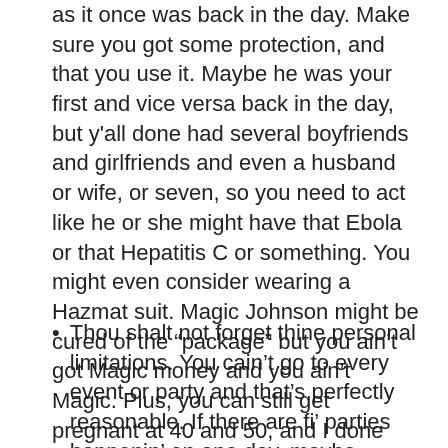as it once was back in the day.  Make sure you got some protection, and that you use it.  Maybe he was your first and vice versa back in the day, but y'all done had several boyfriends and girlfriends and even a husband or wife, or seven, so you need to act like he or she might have that Ebola or that Hepatitis C or something.  You might even consider wearing a Hazmat suit.  Magic Johnson might be cured of the “package” but you ain’t got Magic money and you ain’t Magic.  Plus, you can still get pregnant at 40 and 50, and I done already told y'all how old people shouldn’t have kids.
Thou shalt not forget thine personal limitations. You cain’t go to every event or party and that’s perfectly reasonable. If there are fi’ parties happenin’ on one day, maybe